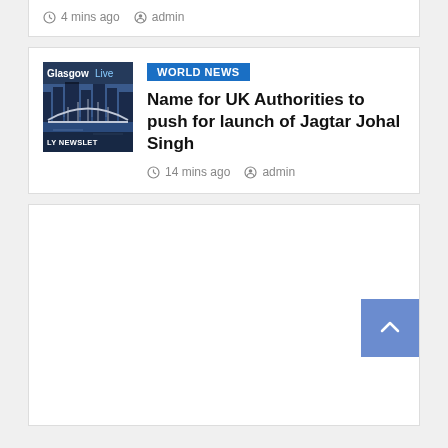4 mins ago  admin
[Figure (photo): GlasgowLive thumbnail image showing city skyline with bridge, with text overlay 'GlasgowLive' and 'LY NEWSLET']
WORLD NEWS
Name for UK Authorities to push for launch of Jagtar Johal Singh
14 mins ago  admin